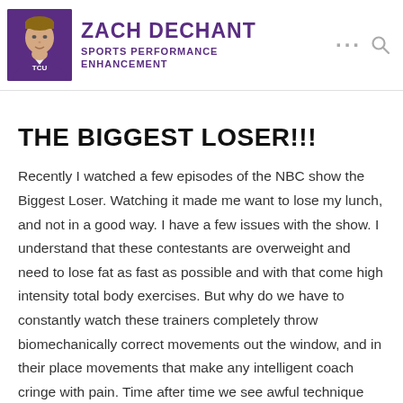ZACH DECHANT SPORTS PERFORMANCE ENHANCEMENT
THE BIGGEST LOSER!!!
Recently I watched a few episodes of the NBC show the Biggest Loser.  Watching it made me want to lose my lunch, and not in a good way.  I have a few issues with the show.  I understand that these contestants are overweight and need to lose fat as fast as possible and with that come high intensity total body exercises.  But why do we have to constantly watch these trainers completely throw biomechanically correct movements out the window, and in their place movements that make any intelligent coach cringe with pain.  Time after time we see awful technique when it comes to anything that involves bending over.